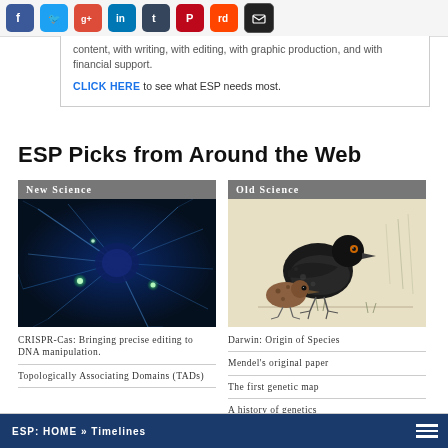[Figure (other): Social media sharing icons: Facebook, Twitter, Google+, LinkedIn, Tumblr, Pinterest, Reddit, Email]
content, with writing, with editing, with graphic production, and with financial support.

CLICK HERE to see what ESP needs most.
ESP Picks from Around the Web
[Figure (photo): New Science card with neuron/synapse glowing blue image. CRISPR-Cas: Bringing precise editing to DNA manipulation. Topologically Associating Domains (TADs)]
[Figure (illustration): Old Science card with Darwin finch bird illustration. Darwin: Origin of Species. Mendel's original paper. The first genetic map. A history of genetics.]
ESP: HOME » Timelines